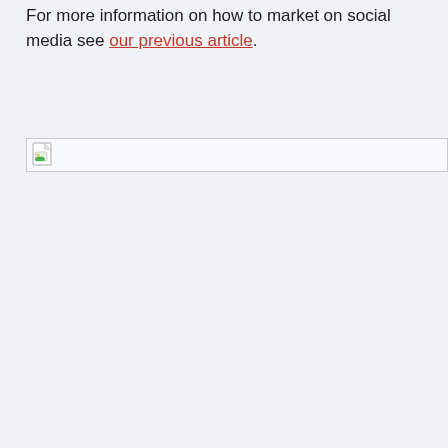For more information on how to market on social media see our previous article.
[Figure (other): Broken image placeholder icon with a small landscape thumbnail icon and a horizontal line extending to the right]